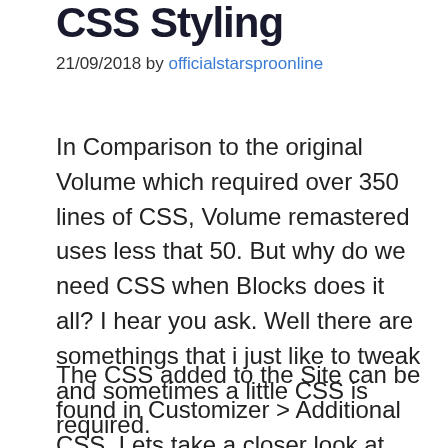CSS Styling
21/09/2018 by officialstarsproonline
In Comparison to the original Volume which required over 350 lines of CSS, Volume remastered uses less that 50. But why do we need CSS when Blocks does it all? I hear you ask. Well there are somethings that i just like to tweak and sometimes a little CSS is required.
The CSS added to the Site can be found in Customizer > Additional CSS. Lets take a closer look at what each of them does